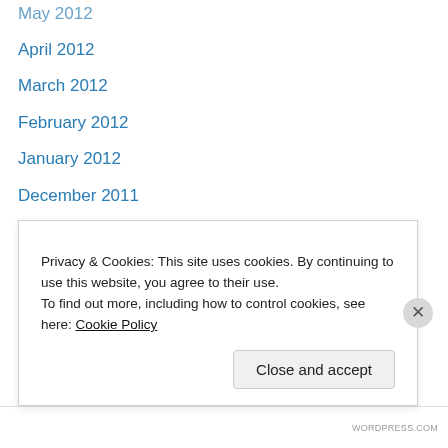May 2012
April 2012
March 2012
February 2012
January 2012
December 2011
November 2011
October 2011
September 2011
August 2011
July 2011
June 2011
May 2011
April 2011
Privacy & Cookies: This site uses cookies. By continuing to use this website, you agree to their use. To find out more, including how to control cookies, see here: Cookie Policy
WORDPRESS.COM